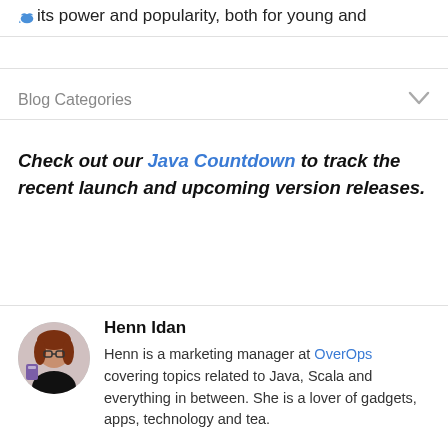its power and popularity, both for young and
Blog Categories
Check out our Java Countdown to track the recent launch and upcoming version releases.
Henn Idan
Henn is a marketing manager at OverOps covering topics related to Java, Scala and everything in between. She is a lover of gadgets, apps, technology and tea.